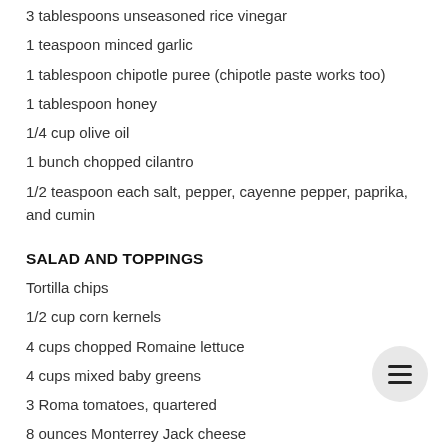3 tablespoons unseasoned rice vinegar
1 teaspoon minced garlic
1 tablespoon chipotle puree (chipotle paste works too)
1 tablespoon honey
1/4 cup olive oil
1 bunch chopped cilantro
1/2 teaspoon each salt, pepper, cayenne pepper, paprika, and cumin
SALAD AND TOPPINGS
Tortilla chips
1/2 cup corn kernels
4 cups chopped Romaine lettuce
4 cups mixed baby greens
3 Roma tomatoes, quartered
8 ounces Monterrey Jack cheese
Directions
Mix all the shrimp ingredients together in a bowl to let the shrimp